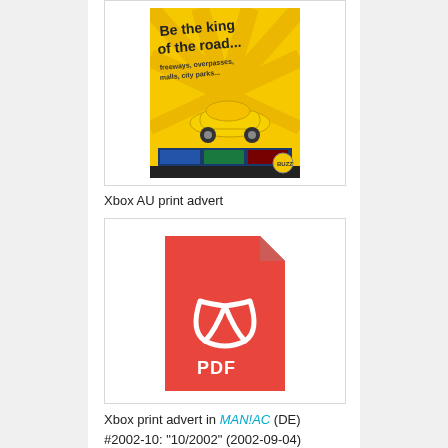[Figure (illustration): Thumbnail of Xbox AU print advert showing a yellow car and text 'Be the king of the road...']
Xbox AU print advert
[Figure (illustration): Red PDF file icon with Adobe Acrobat logo and 'PDF' text]
Xbox print advert in MAN!AC (DE) #2002-10: "10/2002" (2002-09-04)